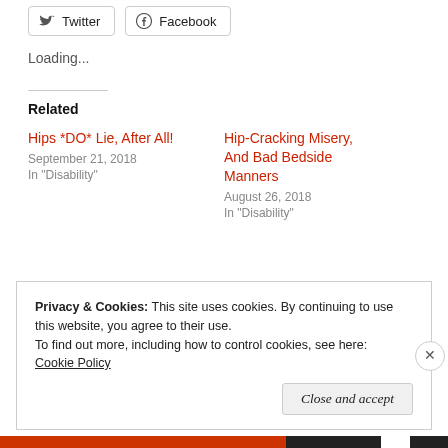[Figure (other): Twitter and Facebook social share buttons]
Loading...
Related
Hips *DO* Lie, After All!
September 21, 2018
In "Disability"
Hip-Cracking Misery, And Bad Bedside Manners
August 26, 2018
In "Disability"
Privacy & Cookies: This site uses cookies. By continuing to use this website, you agree to their use.
To find out more, including how to control cookies, see here:
Cookie Policy
Close and accept